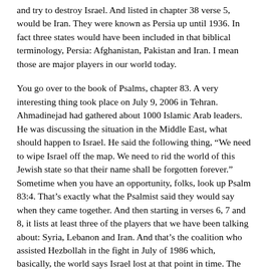and try to destroy Israel. And listed in chapter 38 verse 5, would be Iran. They were known as Persia up until 1936. In fact three states would have been included in that biblical terminology, Persia: Afghanistan, Pakistan and Iran. I mean those are major players in our world today.
You go over to the book of Psalms, chapter 83. A very interesting thing took place on July 9, 2006 in Tehran. Ahmadinejad had gathered about 1000 Islamic Arab leaders. He was discussing the situation in the Middle East, what should happen to Israel. He said the following thing, “We need to wipe Israel off the map. We need to rid the world of this Jewish state so that their name shall be forgotten forever.” Sometime when you have an opportunity, folks, look up Psalm 83:4. That’s exactly what the Psalmist said they would say when they came together. And then starting in verses 6, 7 and 8, it lists at least three of the players that we have been talking about: Syria, Lebanon and Iran. And that’s the coalition who assisted Hezbollah in the fight in July of 1986 which, basically, the world says Israel lost at that point in time. The perception that they were invincible was totally destroyed. Now all the enemies, they are salivating as they think, “Hey we’ve got this weakened Israeli Defense Force. We can come after them. Hezbollah, a